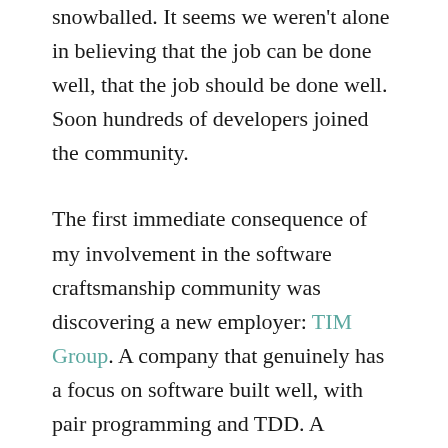snowballed. It seems we weren't alone in believing that the job can be done well, that the job should be done well. Soon hundreds of developers joined the community.
The first immediate consequence of my involvement in the software craftsmanship community was discovering a new employer: TIM Group. A company that genuinely has a focus on software built well, with pair programming and TDD. A company where you can take pride in a job done well. The most professional software organisation I've worked in. They're almost certainly still hiring, so if you're looking, you should definitely talk to them.
Finally, I'd found the article to start…